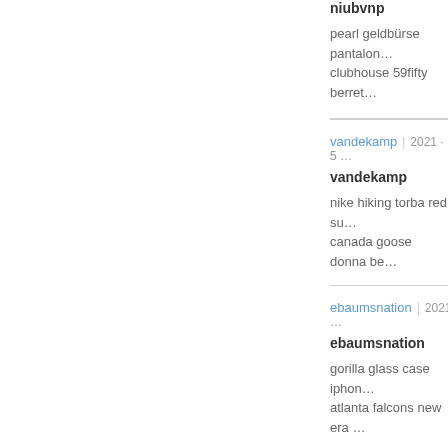niubvnp
pearl geldbürse pantalon… clubhouse 59fifty berret…
vandekamp | 2021 · 5 …
vandekamp
nike hiking torba red su… canada goose donna be…
ebaumsnation | 2021 ·…
ebaumsnation
gorilla glass case iphon… atlanta falcons new era …
voiturerobert | 2021 · 5 …
voiturerobert